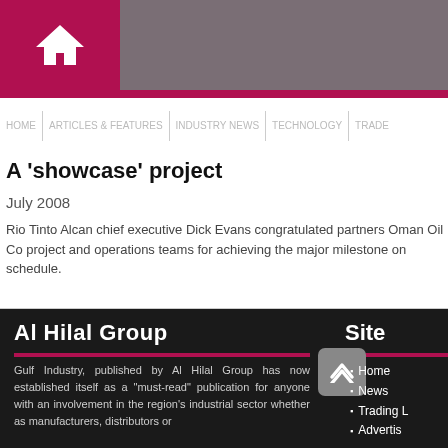Home navigation header with red home icon box
A 'showcase' project
July 2008
Rio Tinto Alcan chief executive Dick Evans congratulated partners Oman Oil Co project and operations teams for achieving the major milestone on schedule.
Al Hilal Group — Gulf Industry, published by Al Hilal Group has now established itself as a "must-read" publication for anyone with an involvement in the region's industrial sector whether as manufacturers, distributors or
Site — Home, News, Trading L, Advertis